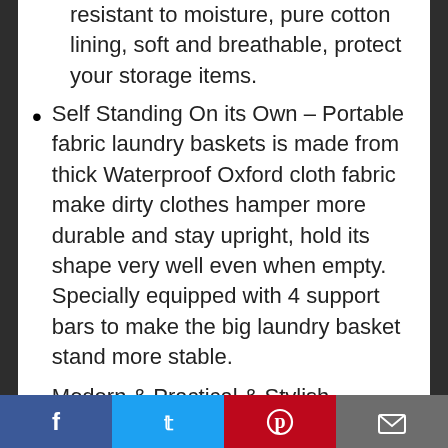resistant to moisture, pure cotton lining, soft and breathable, protect your storage items.
Self Standing On its Own – Portable fabric laundry baskets is made from thick Waterproof Oxford cloth fabric make dirty clothes hamper more durable and stay upright, hold its shape very well even when empty. Specially equipped with 4 support bars to make the big laundry basket stand more stable.
Modern & Practical & Stylish – Rectangle laundry basket keep your